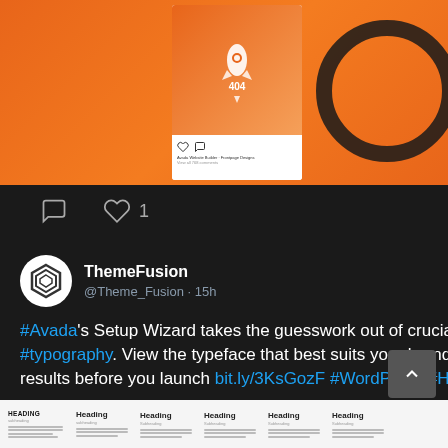[Figure (screenshot): Top portion showing an orange-background Instagram post with a rocket/404 graphic visible in a white card, and a partial circular logo on the right side against orange background]
comment icon  heart icon  1
ThemeFusion @Theme_Fusion · 15h
#Avada's Setup Wizard takes the guesswork out of crucial website design decisions, including #typography. View the typeface that best suits your brand message, your audience, & customize the results before you launch bit.ly/3KsGozF #WordPress #HowTo #WebsiteBuilder
[Figure (screenshot): Bottom strip showing a typography/heading comparison panel with multiple heading styles labeled HEADING, Heading across different columns]